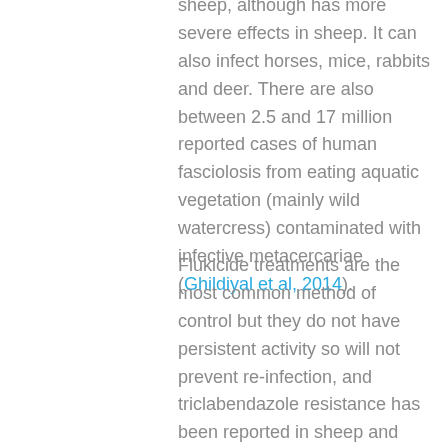sheep, although has more severe effects in sheep. It can also infect horses, mice, rabbits and deer. There are also between 2.5 and 17 million reported cases of human fasciolosis from eating aquatic vegetation (mainly wild watercress) contaminated with infective metacercariae (Ghildiyal et al, 2014).
Flukicide treatments are the most common method of control but they do not have persistent activity so will not prevent re-infection, and triclabendazole resistance has been reported in sheep and cattle (Mitchell et al., 1998; Moll et al., 2000; Thomas et al., 2000, Gordon et al., 2012). All flukicides will effectively kill adult fluke, some (nitroxynil and closantel) will kill the late immature